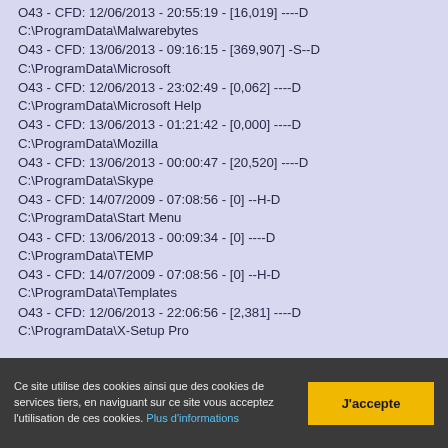O43 - CFD: 12/06/2013 - 20:55:19 - [16,019] ----D
C:\ProgramData\Malwarebytes
O43 - CFD: 13/06/2013 - 09:16:15 - [369,907] -S--D
C:\ProgramData\Microsoft
O43 - CFD: 12/06/2013 - 23:02:49 - [0,062] ----D
C:\ProgramData\Microsoft Help
O43 - CFD: 13/06/2013 - 01:21:42 - [0,000] ----D
C:\ProgramData\Mozilla
O43 - CFD: 13/06/2013 - 00:00:47 - [20,520] ----D
C:\ProgramData\Skype
O43 - CFD: 14/07/2009 - 07:08:56 - [0] --H-D
C:\ProgramData\Start Menu
O43 - CFD: 13/06/2013 - 00:09:34 - [0] ----D
C:\ProgramData\TEMP
O43 - CFD: 14/07/2009 - 07:08:56 - [0] --H-D
C:\ProgramData\Templates
O43 - CFD: 12/06/2013 - 22:06:56 - [2,381] ----D
C:\ProgramData\X-Setup Pro
Ce site utilise des cookies ainsi que des cookies de services tiers, en naviguant sur ce site vous acceptez l'utilisation de ces cookies. Plus d'informations